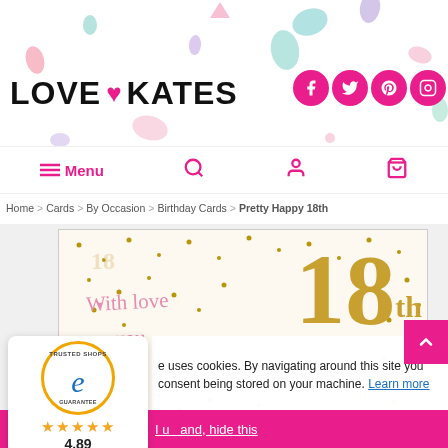[Figure (screenshot): Love Kates website header with logo, social media icons (Facebook, Twitter, Pinterest, Instagram), confetti background decorations, navigation bar with Menu, search, user, and cart icons, breadcrumb navigation (Home > Cards > By Occasion > Birthday Cards > Pretty Happy 18th), a product image showing an 18th birthday card with gold '18th' text and script writing 'With love on your', gold dot pattern on cream background, a Trusted Shops badge showing 4.89 rating, a cookie consent banner, and a pink scroll-up button]
LOVE ♥ KATES
Menu
Home > Cards > By Occasion > Birthday Cards > Pretty Happy 18th
e uses cookies. By navigating around this site you consent being stored on your machine. Learn more
I u   and, hide this
4.89